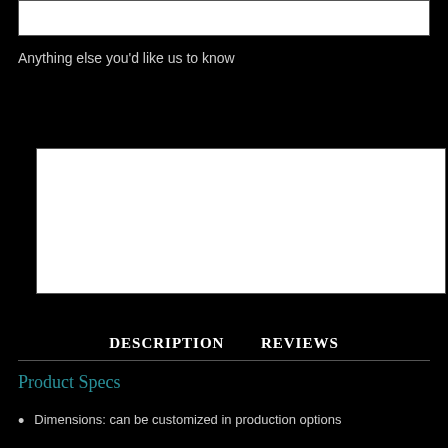[Figure (screenshot): Partially visible text area input at the top of the page]
Anything else you'd like us to know
[Figure (screenshot): Large white textarea input for additional information]
Add to Cart
DESCRIPTION   REVIEWS
Product Specs
Dimensions: can be customized in production options